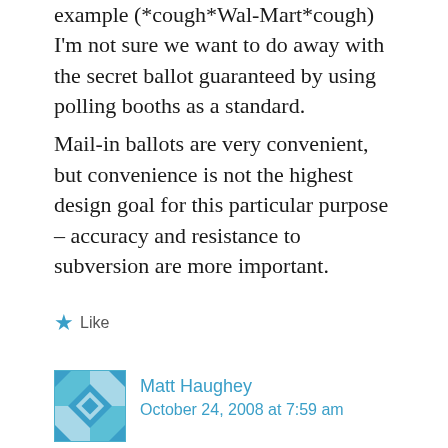example (*cough*Wal-Mart*cough) I'm not sure we want to do away with the secret ballot guaranteed by using polling booths as a standard.
Mail-in ballots are very convenient, but convenience is not the highest design goal for this particular purpose – accuracy and resistance to subversion are more important.
Like
Matt Haughey
October 24, 2008 at 7:59 am